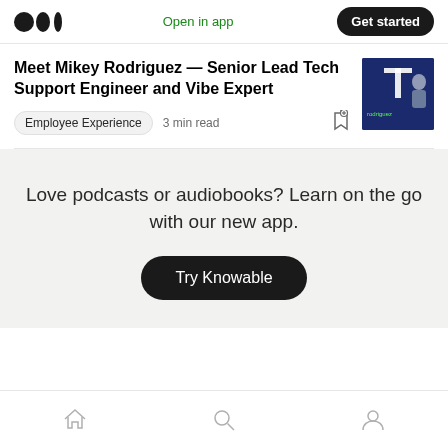Open in app  Get started
Meet Mikey Rodriguez — Senior Lead Tech Support Engineer and Vibe Expert
Employee Experience  3 min read
[Figure (photo): Thumbnail image showing a person against a dark blue background with text overlay]
Love podcasts or audiobooks? Learn on the go with our new app.
Try Knowable
Home  Search  Profile navigation icons